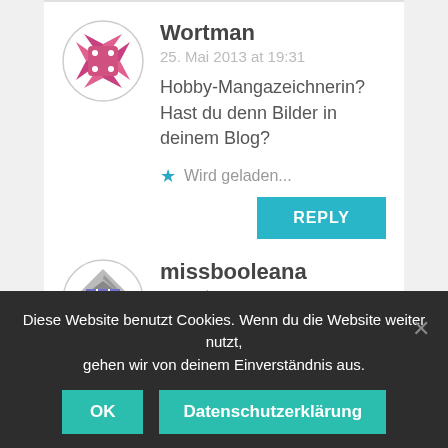[Figure (illustration): Circular avatar for user Wortman with a pink/magenta quilt-star pattern and button motif]
Wortman
25. Mai 2013 at 19:31
Hobby-Mangazeichnerin? Hast du denn Bilder in deinem Blog?
Wird geladen...
REPLY
[Figure (illustration): Circular avatar for user missbooleana with a grey diamond pattern and purple square grid motif]
missbooleana
26. Mai 2013 at 7:42
Diese Website benutzt Cookies. Wenn du die Website weiter nutzt, gehen wir von deinem Einverständnis aus.
OK
Datenschutzerklärung